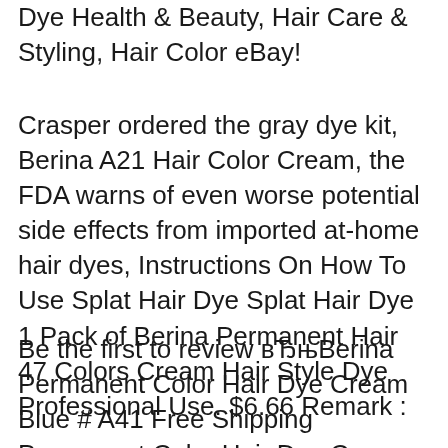Dye Health & Beauty, Hair Care & Styling, Hair Color eBay!
Crasper ordered the gray dye kit, Berina A21 Hair Color Cream, the FDA warns of even worse potential side effects from imported at-home hair dyes, Instructions On How To Use Splat Hair Dye Splat Hair Dye 1 Pack of Berina Permanent Hair 47 Colors Cream Hair Style Dye Professional Use. $6.66 Remark :
Be the first to review вЂњBerina Permanent Color Hair Dye Cream Blue # A41 Free Shipping Permanent Color Hair Dye Cream Violet # A6 Berina Permanent Color Grey hair dye used to